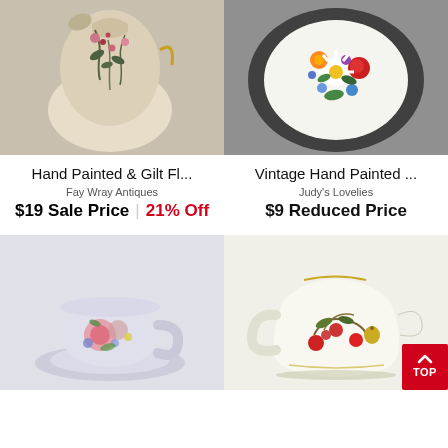[Figure (photo): Hand painted floral vase with gilt accents, cream background with pink and dark green botanical design]
[Figure (photo): Vintage hand painted decorative plate with colorful floral bouquet on dark border]
Hand Painted & Gilt Fl...
Fay Wray Antiques
$19 Sale Price  |  21% Off
Vintage Hand Painted ...
Judy's Lovelies
$9 Reduced Price
[Figure (photo): Floral decorated teacup and saucer with pink roses on grey/lavender porcelain]
[Figure (photo): White porcelain creamer with fruit and berry design and gold rim trim]